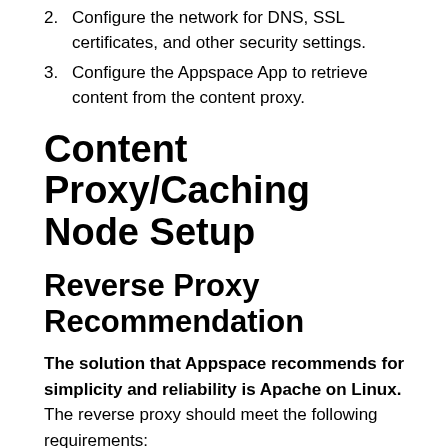2. Configure the network for DNS, SSL certificates, and other security settings.
3. Configure the Appspace App to retrieve content from the content proxy.
Content Proxy/Caching Node Setup
Reverse Proxy Recommendation
The solution that Appspace recommends for simplicity and reliability is Apache on Linux. The reverse proxy should meet the following requirements:
Be accessible over the local network by hostname.